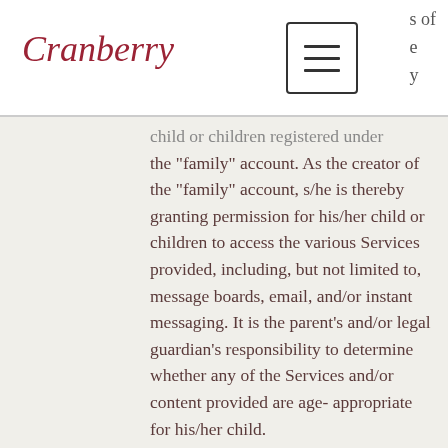Cranberry
child or children registered under the "family" account. As the creator of the "family" account, s/he is thereby granting permission for his/her child or children to access the various Services provided, including, but not limited to, message boards, email, and/or instant messaging. It is the parent's and/or legal guardian's responsibility to determine whether any of the Services and/or content provided are age-appropriate for his/her child.
PRIVACY
Every member's registration data and various other personal information are strictly protected by the Cranberry Financial Online